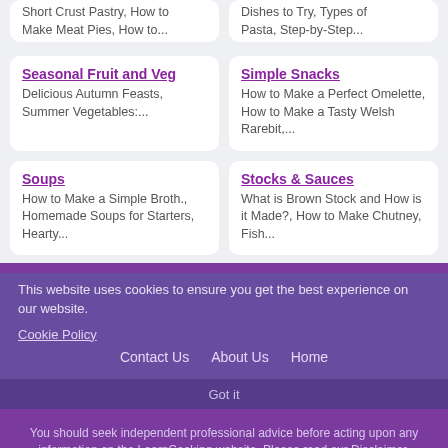Short Crust Pastry, How to Make Meat Pies, How to...
Dishes to Try, Types of Pasta, Step-by-Step...
Seasonal Fruit and Veg
Delicious Autumn Feasts, Summer Vegetables:...
Simple Snacks
How to Make a Perfect Omelette, How to Make a Tasty Welsh Rarebit,...
Soups
How to Make a Simple Broth., Homemade Soups for Starters, Hearty...
Stocks & Sauces
What is Brown Stock and How is it Made?, How to Make Chutney, Fish...
This website uses cookies to ensure you get the best experience on our website.
Cookie Policy
Contact Us   About Us   Home
You should seek independent professional advice before acting upon any information on the LearnCooking website. Please read our Disclaimer.
Got it
© LearnCooking 2000-2022   Terms & Privacy